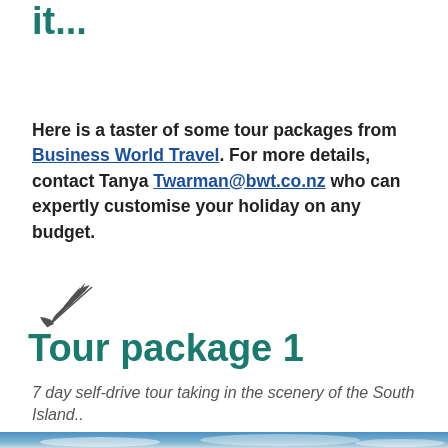it...
Here is a taster of some tour packages from Business World Travel. For more details, contact Tanya Twarman@bwt.co.nz who can expertly customise your holiday on any budget.
[Figure (illustration): Silver fern logo icon]
Tour package 1
7 day self-drive tour taking in the scenery of the South Island..
[Figure (photo): Sky with clouds, blue sky photo strip at bottom of page]